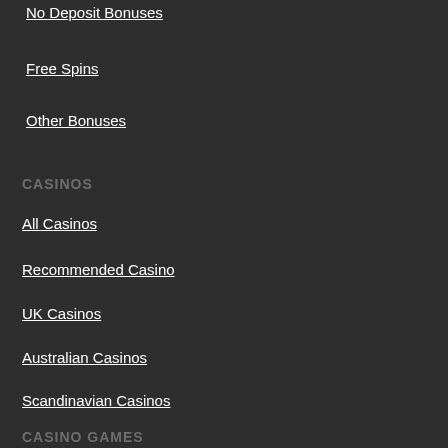No Deposit Bonuses
Free Spins
Other Bonuses
CASINOS
All Casinos
Recommended Casino
UK Casinos
Australian Casinos
Scandinavian Casinos
CASINO GAMES